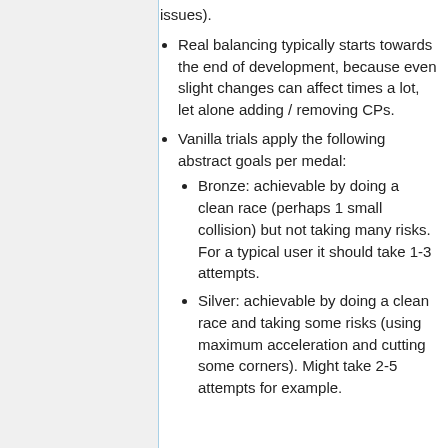issues).
Real balancing typically starts towards the end of development, because even slight changes can affect times a lot, let alone adding / removing CPs.
Vanilla trials apply the following abstract goals per medal:
Bronze: achievable by doing a clean race (perhaps 1 small collision) but not taking many risks. For a typical user it should take 1-3 attempts.
Silver: achievable by doing a clean race and taking some risks (using maximum acceleration and cutting some corners). Might take 2-5 attempts for example.